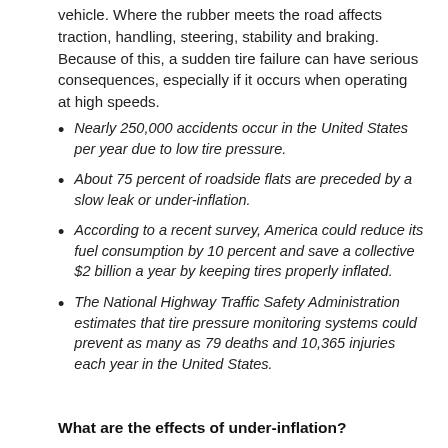vehicle. Where the rubber meets the road affects traction, handling, steering, stability and braking. Because of this, a sudden tire failure can have serious consequences, especially if it occurs when operating at high speeds.
Nearly 250,000 accidents occur in the United States per year due to low tire pressure.
About 75 percent of roadside flats are preceded by a slow leak or under-inflation.
According to a recent survey, America could reduce its fuel consumption by 10 percent and save a collective $2 billion a year by keeping tires properly inflated.
The National Highway Traffic Safety Administration estimates that tire pressure monitoring systems could prevent as many as 79 deaths and 10,365 injuries each year in the United States.
What are the effects of under-inflation?